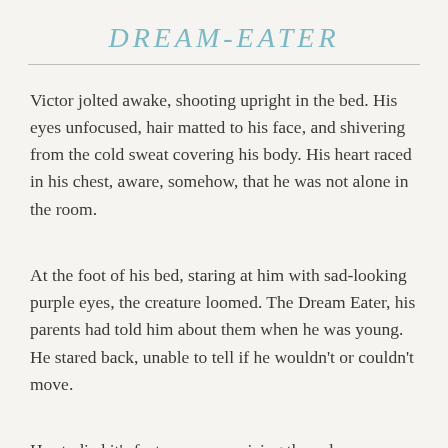DREAM-EATER
Victor jolted awake, shooting upright in the bed. His eyes unfocused, hair matted to his face, and shivering from the cold sweat covering his body. His heart raced in his chest, aware, somehow, that he was not alone in the room.
At the foot of his bed, staring at him with sad-looking purple eyes, the creature loomed. The Dream Eater, his parents had told him about them when he was young. He stared back, unable to tell if he wouldn't or couldn't move.
He studied it's features, memorizing the pale